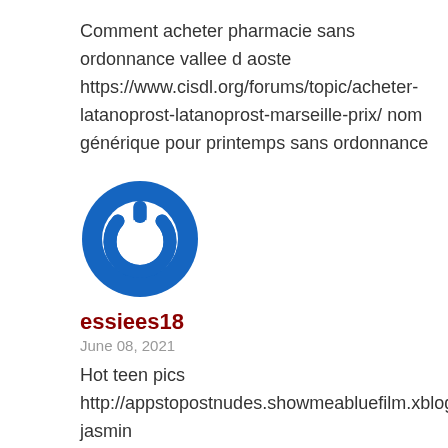Comment acheter pharmacie sans ordonnance vallee d aoste https://www.cisdl.org/forums/topic/acheter-latanoprost-latanoprost-marseille-prix/ nom générique pour printemps sans ordonnance
[Figure (logo): Circular blue power button icon logo with white power symbol in the center]
essiees18
June 08, 2021
Hot teen pics
http://appstopostnudes.showmeabluefilm.xblognetwo jasmin